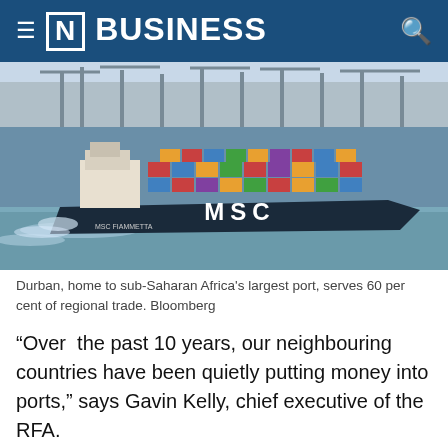[N] BUSINESS
[Figure (photo): MSC container ship loaded with cargo containers sailing in harbor with port cranes visible in background, aerial/elevated view]
Durban, home to sub-Saharan Africa's largest port, serves 60 per cent of regional trade. Bloomberg
“Over the past 10 years, our neighbouring countries have been quietly putting money into ports,” says Gavin Kelly, chief executive of the RFA.
South Africa’s container ports were ranked at the bottom of a World Bank global index of 351